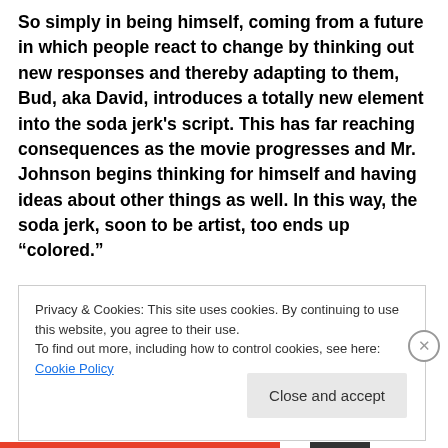So simply in being himself, coming from a future in which people react to change by thinking out new responses and thereby adapting to them, Bud, aka David, introduces a totally new element into the soda jerk's script. This has far reaching consequences as the movie progresses and Mr. Johnson begins thinking for himself and having ideas about other things as well. In this way, the soda jerk, soon to be artist, too ends up “colored.”
Privacy & Cookies: This site uses cookies. By continuing to use this website, you agree to their use.
To find out more, including how to control cookies, see here: Cookie Policy